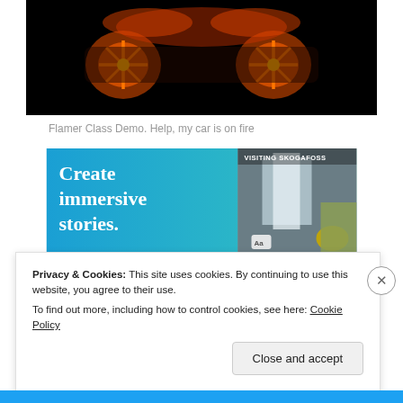[Figure (photo): Infrared/thermal image of a car on a black background showing glowing orange-red wheel areas with spoke-like patterns, resembling fire]
Flamer Class Demo. Help, my car is on fire
[Figure (screenshot): Advertisement banner with blue gradient background showing text 'Create immersive stories.' on the left, and on the right a photo of a waterfall with a person in a yellow jacket, with text 'VISITING SKOGAFOSS' at the top]
Privacy & Cookies: This site uses cookies. By continuing to use this website, you agree to their use.
To find out more, including how to control cookies, see here: Cookie Policy